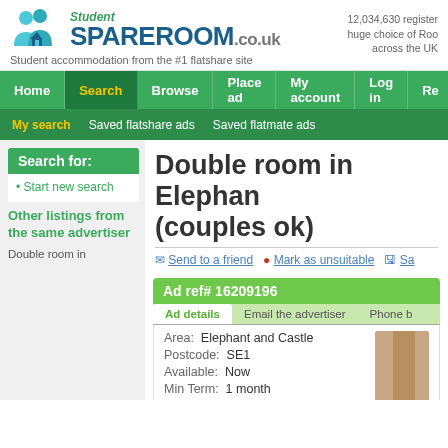[Figure (logo): Student SpareRoom.co.uk logo with two person icons and house icon in teal/blue]
12,034,630 registered users. Huge choice of Rooms across the UK
Student accommodation from the #1 flatshare site
Home | Search | Browse | Place ad | My account | Log in | Re...
My search | Saved flatshare ads | Saved flatmate ads
Double room in Elephant and Castle (couples ok)
Send to a friend   Mark as unsuitable   Sa...
Search for:
Start new search
Other listings from the same advertiser
Double room in
Ad ref# 16209196
Ad details | Email the advertiser | Phone b...
Area:  Elephant and Castle
Postcode:  SE1
Available:  Now
Min Term:  1 month